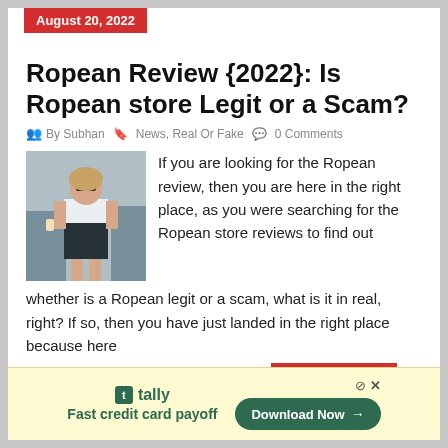August 20, 2022
Ropean Review {2022}: Is Ropean store Legit or a Scam?
By Subhan  News, Real Or Fake  0 Comments
[Figure (photo): Woman wearing white top and dark skirt outdoors]
If you are looking for the Ropean review, then you are here in the right place, as you were searching for the Ropean store reviews to find out whether is a Ropean legit or a scam, what is it in real, right? If so, then you have just landed in the right place because here
Read More
[Figure (other): Tally advertisement — Fast credit card payoff. Download Now button.]